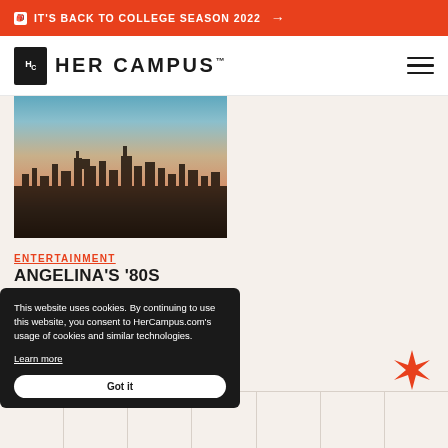🎒 IT'S BACK TO COLLEGE SEASON 2022 →
HER CAMPUS
[Figure (photo): Aerial view of Chicago city skyline at dusk with gradient sky from blue to warm orange]
ENTERTAINMENT
ANGELINA'S '80S ARCHIVE: FERRIS BUELLER'S DAY OFF
This website uses cookies. By continuing to use this website, you consent to HerCampus.com's usage of cookies and similar technologies. Learn more
Got it